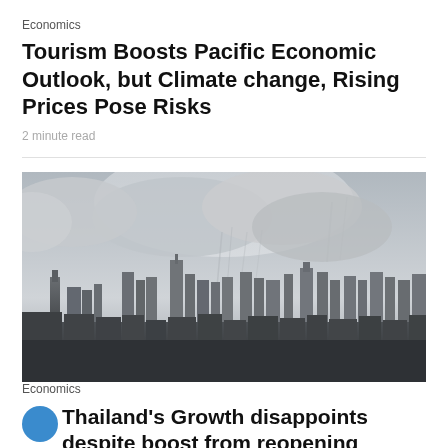Economics
Tourism Boosts Pacific Economic Outlook, but Climate change, Rising Prices Pose Risks
2 minute read
[Figure (photo): Black and white aerial cityscape photograph showing a dense urban skyline with skyscrapers under dramatic stormy cloudy sky, with rain visible in the distance.]
Economics
Thailand's Growth disappoints despite boost from reopening